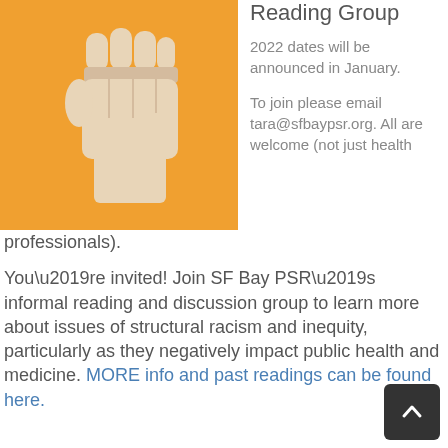[Figure (illustration): Orange square background with a raised fist icon in light beige/tan color, representing solidarity or resistance.]
Reading Group
2022 dates will be announced in January.
To join please email tara@sfbaypsr.org. All are welcome (not just health professionals).
You’re invited! Join SF Bay PSR’s informal reading and discussion group to learn more about issues of structural racism and inequity, particularly as they negatively impact public health and medicine. MORE info and past readings can be found here.